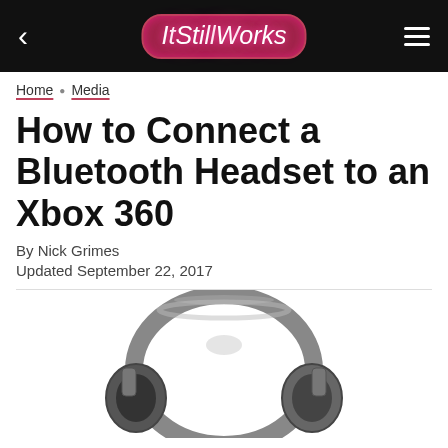ItStillWorks
Home • Media
How to Connect a Bluetooth Headset to an Xbox 360
By Nick Grimes
Updated September 22, 2017
[Figure (photo): Photo of a silver and black Bluetooth headset, partially cropped at the bottom of the page]